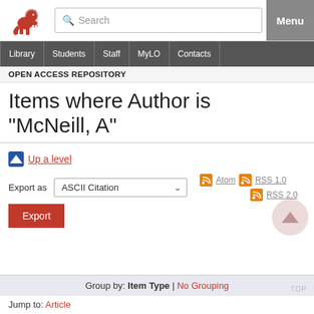[Figure (logo): Red lion heraldic logo of the University of Tasmania]
Search  Menu
Library | Students | Staff | MyLO | Contacts
OPEN ACCESS REPOSITORY
Items where Author is "McNeill, A"
Up a level
Export as  ASCII Citation  Export
Atom  RSS 1.0  RSS 2.0
Group by: Item Type | No Grouping
Jump to: Article